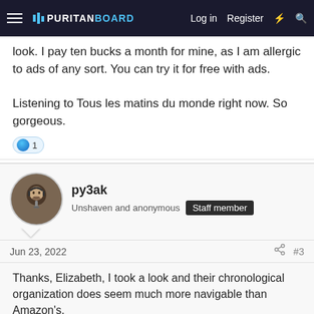Puritan Board — Log in  Register
look. I pay ten bucks a month for mine, as I am allergic to ads of any sort. You can try it for free with ads.

Listening to Tous les matins du monde right now. So gorgeous.
py3ak
Unshaven and anonymous  Staff member
Jun 23, 2022  #3
Thanks, Elizabeth, I took a look and their chronological organization does seem much more navigable than Amazon's.

Since you like Jordi Savall, you will almost certainly enjoy Leonel Meunier and Vox Luminis. Their sound is astonishing, and they have a wonderful assortment of rarely-heard pieces.